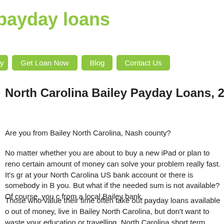payday loans
[Figure (screenshot): Navigation bar with green buttons: Get Loan Now, Blog, Contact Us]
North Carolina Bailey Payday Loans, 27807 Zip
Are you from Bailey North Carolina, Nash county?
No matter whether you are about to buy a new iPad or plan to reno certain amount of money can solve your problem really fast. It's gr at your North Carolina US bank account or there is somebody in B you. But what if the needed sum is not available? Of course, you c from a local Bailey bank.
Those who value their time often take out payday loans available o out of money, live in Bailey North Carolina, but don't want to waste your education or travelling, North Carolina short term loans may o